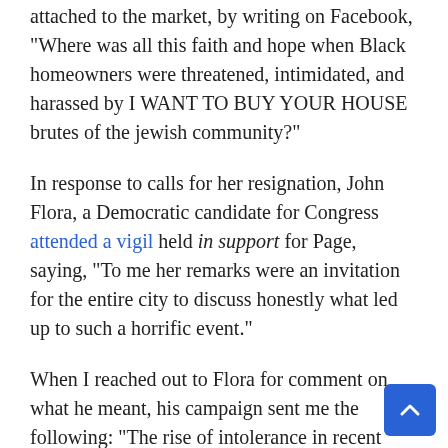attached to the market, by writing on Facebook, “Where was all this faith and hope when Black homeowners were threatened, intimidated, and harassed by I WANT TO BUY YOUR HOUSE brutes of the jewish community?”
In response to calls for her resignation, John Flora, a Democratic candidate for Congress attended a vigil held in support for Page, saying, “To me her remarks were an invitation for the entire city to discuss honestly what led up to such a horrific event.”
When I reached out to Flora for comment on what he meant, his campaign sent me the following: “The rise of intolerance in recent weeks has shown us that we can’t expect this type of hatred to go away on its own. It will take